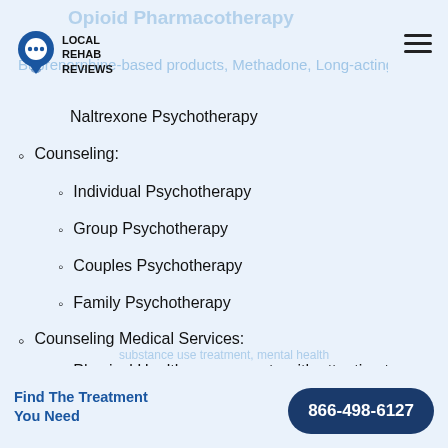LOCAL REHAB REVIEWS
Opioid Pharmacotherapy
Buprenorphine-based products, Methadone, Long-acting Naltrexone Psychotherapy
Counseling:
Individual Psychotherapy
Group Psychotherapy
Couples Psychotherapy
Family Psychotherapy
Counseling Medical Services:
Physical Health assessments with attention to primary care needs
Find The Treatment You Need  866-498-6127